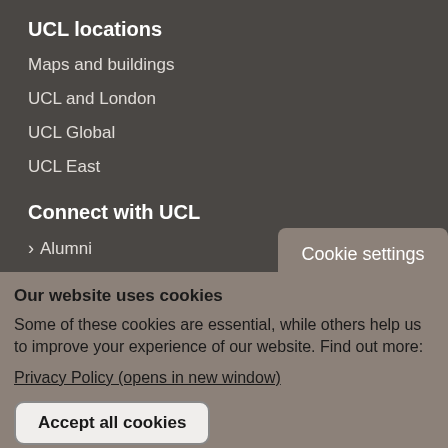UCL locations
Maps and buildings
UCL and London
UCL Global
UCL East
Connect with UCL
Alumni
Businesses
Cookie settings
Our website uses cookies
Some of these cookies are essential, while others help us to improve your experience of our website. Find out more:
Privacy Policy (opens in new window)
Accept all cookies